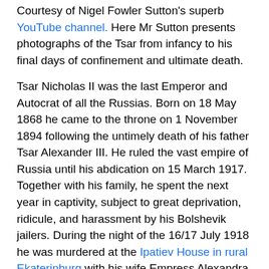Courtesy of Nigel Fowler Sutton's superb YouTube channel. Here Mr Sutton presents photographs of the Tsar from infancy to his final days of confinement and ultimate death.
Tsar Nicholas II was the last Emperor and Autocrat of all the Russias. Born on 18 May 1868 he came to the throne on 1 November 1894 following the untimely death of his father Tsar Alexander III. He ruled the vast empire of Russia until his abdication on 15 March 1917. Together with his family, he spent the next year in captivity, subject to great deprivation, ridicule, and harassment by his Bolshevik jailers. During the night of the 16/17 July 1918 he was murdered at the Ipatiev House in rural Ekaterinburg with his wife Empress Alexandra, his son the Tsarevich Alexey, his four daughters, the family doctor, his valet, the lady-waiting to the Empress and the family cook.